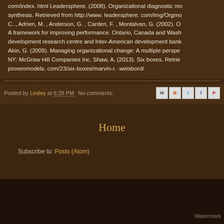com/index. html Leadersphere. (2008). Organizational diagnostic mo synthesis. Retrieved from http://www. leadersphere. com/img/Orgmo C. , Adrien, M. , Anderson, G. , Carden, F. , Montalvan, G. (2002). O A framework for improving performance. Ontario, Canada and Wash development research centre and Inter-American development bank Akin, G. (2009). Managing organizational change: A multiple perspe NY: McGraw Hill Companies Inc. Shaw, A. (2013). Six boxes. Retrie provenmodels. com/23/six-boxes/marvin-r. -weisbord/
Posted by Lesley at 6:28 PM   No comments:
Home
Subscribe to: Posts (Atom)
Watermark